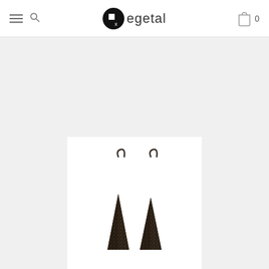egetal — navigation header with hamburger menu, search icon, logo, and cart
[Figure (photo): Two dark bronze/gold triangular earrings with hook fastenings, shown on a white background product card]